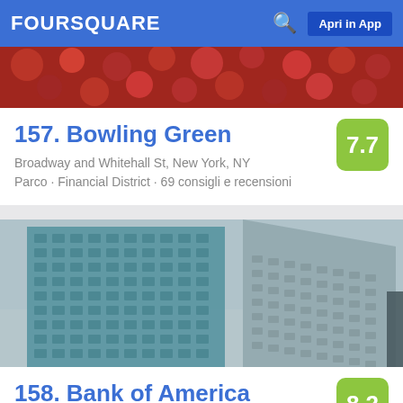FOURSQUARE   🔍   Apri in App
[Figure (photo): Red floral background image for Bowling Green listing]
157. Bowling Green
Broadway and Whitehall St, New York, NY
Parco · Financial District · 69 consigli e recensioni
[Figure (photo): Photo of tall glass skyscrapers viewed from below (Bank of America Tower / Bryant Park area)]
158. Bank of America
1 Bryant Park (btwn 42nd St. & 6th Ave.), New York, NY
Banca · Theater District · 31 consigli e recensioni